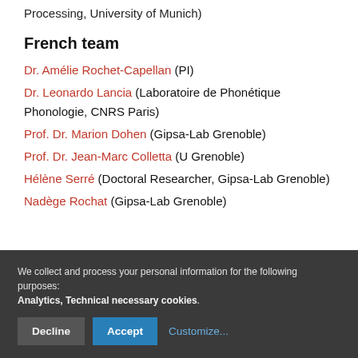Processing, University of Munich)
French team
Dr. Amélie Rochet-Capellan (PI)
Dr. Leonardo Lancia (Laboratoire de Phonétique Phonologie, CNRS Paris)
Prof. Dr. Marion Dohen (Gipsa-Lab Grenoble)
Prof. Dr. Jean-Marc Colletta (U Grenoble)
Hélène Serré (Doctoral Researcher, Gipsa-Lab Grenoble)
Nadège Rochat (Gipsa-Lab Grenoble)
We collect and process your personal information for the following purposes: Analytics, Technical necessary cookies.
Decline  Accept  Customize...